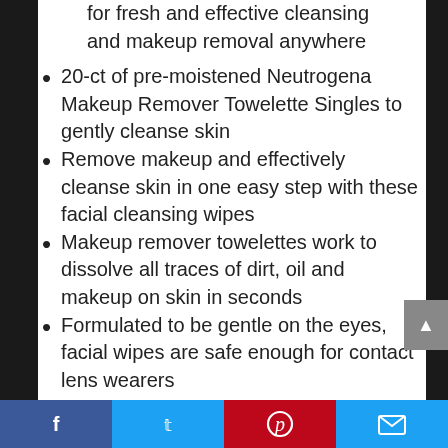for fresh and effective cleansing and makeup removal anywhere
20-ct of pre-moistened Neutrogena Makeup Remover Towelette Singles to gently cleanse skin
Remove makeup and effectively cleanse skin in one easy step with these facial cleansing wipes
Makeup remover towelettes work to dissolve all traces of dirt, oil and makeup on skin in seconds
Formulated to be gentle on the eyes, facial wipes are safe enough for contact lens wearers
Facebook | Twitter | Pinterest | Email